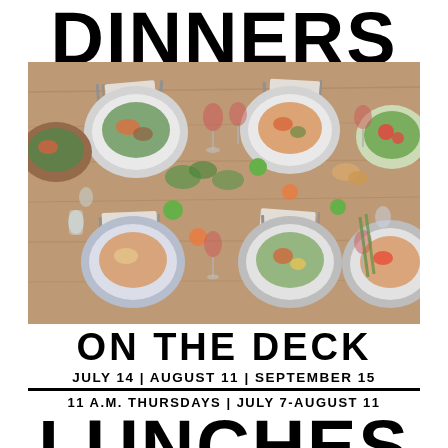DINNERS
[Figure (photo): Overhead view of a dinner table set with multiple plates of food, salads, drinks, and vegetables on a wooden surface.]
ON THE DECK
JULY 14 | AUGUST 11 | SEPTEMBER 15
11 A.M. THURSDAYS | JULY 7-AUGUST 11
LUNCHES